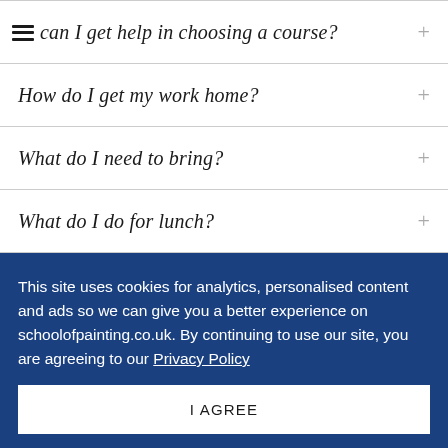How can I get help in choosing a course?
How do I get my work home?
What do I need to bring?
What do I do for lunch?
This site uses cookies for analytics, personalised content and ads so we can give you a better experience on schoolofpainting.co.uk. By continuing to use our site, you are agreeing to our Privacy Policy
I AGREE